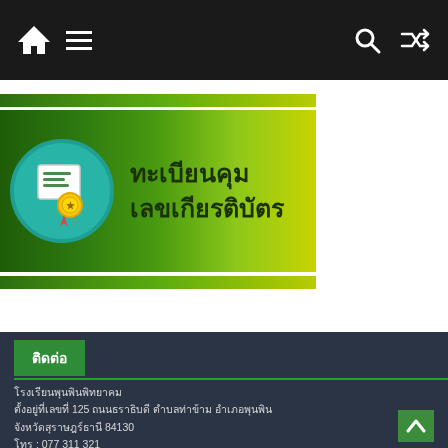[Figure (screenshot): Website navigation bar with home icon, hamburger menu, search icon, and shuffle icon on dark background]
[Figure (illustration): Certificate registration banner with teal circle icon showing a certificate/award image, dark green background gradient, and Thai text 'ทะเบียนคุม เลขเกียรติบัตร']
ทะเบียนคุม เลขเกียรติบัตร
ติดต่อ
โรงเรียนพุนพินพิทยาคม
ตั้งอยู่ที่เลขที่ 125 ถนนธราธิบดี ตำบลท่าข้าม อำเภอพุนพิน
จังหวัดสุราษฎร์ธานี 84130
โทร : 077 311 321